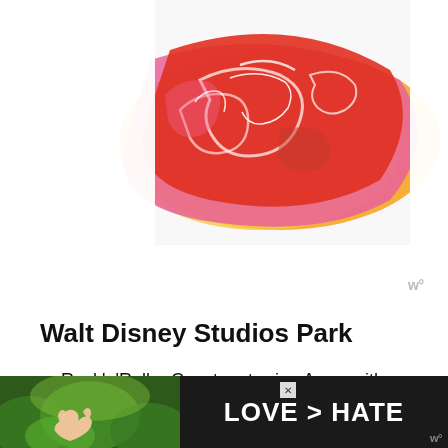[Figure (illustration): Colorful decorative lettering art with red, pink, orange, and yellow swirling text reading 'Be Kind' in retro script style]
Walt Disney Studios Park
Rock'n'Roller Coaster starring Aerosmith, Backlot
The Twilight Zone Tower of Terror**, Production Courtyard
Ratatouille: The Adventure, Toon Studio
[Figure (photo): Advertisement banner showing hands making a heart shape with green nature background, text reads LOVE > HATE]